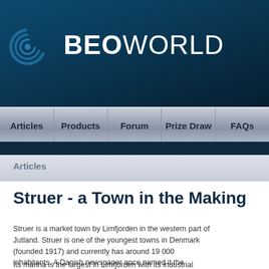[Figure (logo): BEOWORLD logo with circular arc graphic on dark blue background]
Articles | Products | Forum | Prize Draw | FAQs
Articles
Struer - a Town in the Making
Struer is a market town by Limfjorden in the western part of Jutland. Struer is one of the youngest towns in Denmark (founded 1917) and currently has around 19 000 inhabitants. A Danish newspaper once named it the 'stockbroker belt' of western Jutland.
Its marina is the largest in Limfjorden with its industrial harbour